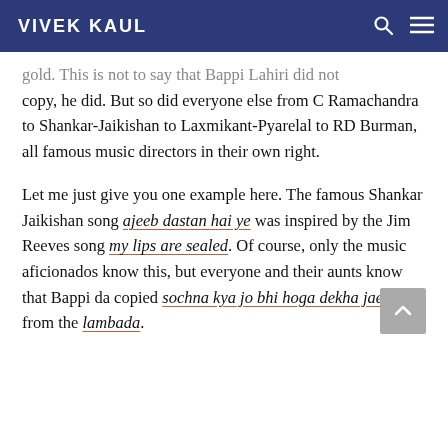VIVEK KAUL
gold. This is not to say that Bappi Lahiri did not copy, he did. But so did everyone else from C Ramachandra to Shankar-Jaikishan to Laxmikant-Pyarelal to RD Burman, all famous music directors in their own right.
Let me just give you one example here. The famous Shankar Jaikishan song ajeeb dastan hai ye was inspired by the Jim Reeves song my lips are sealed. Of course, only the music aficionados know this, but everyone and their aunts know that Bappi da copied sochna kya jo bhi hoga dekha jaega from the lambada.